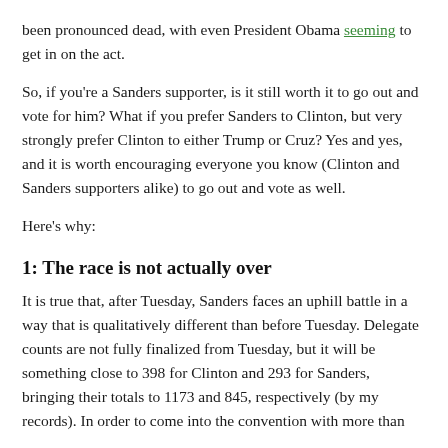been pronounced dead, with even President Obama seeming to get in on the act.
So, if you're a Sanders supporter, is it still worth it to go out and vote for him? What if you prefer Sanders to Clinton, but very strongly prefer Clinton to either Trump or Cruz? Yes and yes, and it is worth encouraging everyone you know (Clinton and Sanders supporters alike) to go out and vote as well.
Here's why:
1: The race is not actually over
It is true that, after Tuesday, Sanders faces an uphill battle in a way that is qualitatively different than before Tuesday. Delegate counts are not fully finalized from Tuesday, but it will be something close to 398 for Clinton and 293 for Sanders, bringing their totals to 1173 and 845, respectively (by my records). In order to come into the convention with more than